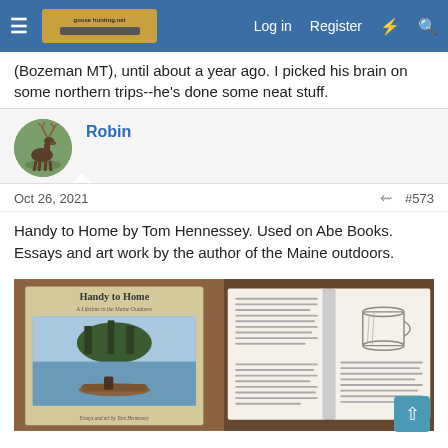Navigation bar with hamburger menu, logo, Log in, Register, and search icons
(Bozeman MT), until about a year ago. I picked his brain on some northern trips--he's done some neat stuff.
Robin
Oct 26, 2021  #573
Handy to Home by Tom Hennessey. Used on Abe Books. Essays and art work by the author of the Maine outdoors.
[Figure (photo): Two photos side by side: left shows the book cover 'Handy to Home: A Lifetime in the Maine Outdoors' by Tom Hennessey with a painting of a canoe on water; right shows an open page of the book with text and a pencil sketch of a tin cup or bucket.]